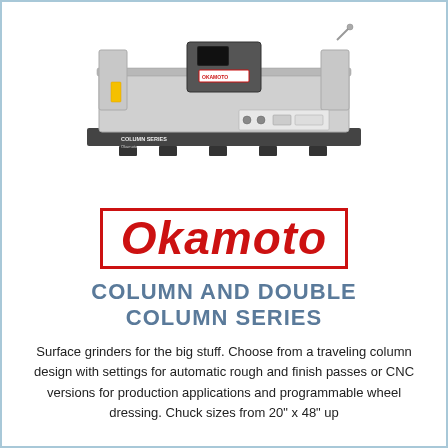[Figure (photo): A large industrial surface grinding machine (Okamoto column series), silver/grey colored with control panel, shown from front angle.]
[Figure (logo): Okamoto brand logo in red italic bold letters with red border rectangle.]
COLUMN AND DOUBLE COLUMN SERIES
Surface grinders for the big stuff. Choose from a traveling column design with settings for automatic rough and finish passes or CNC versions for production applications and programmable wheel dressing. Chuck sizes from 20" x 48" up